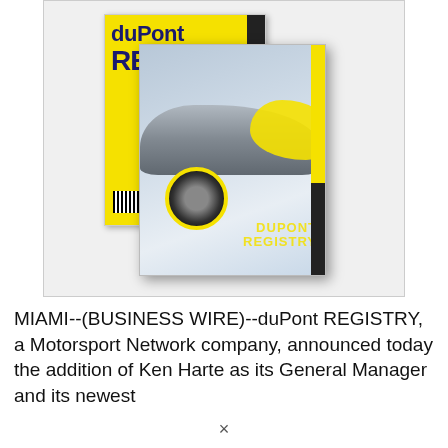[Figure (photo): Two issues of duPont REGISTRY magazine stacked and fanned out. The back magazine shows a yellow cover with 'duPont REGISTRY' in dark blue text and a black spine. The front magazine shows a close-up of a sports car with yellow accents on a silver/grey background, with yellow text at the bottom right.]
MIAMI--(BUSINESS WIRE)--duPont REGISTRY, a Motorsport Network company, announced today the addition of Ken Harte as its General Manager and its newest